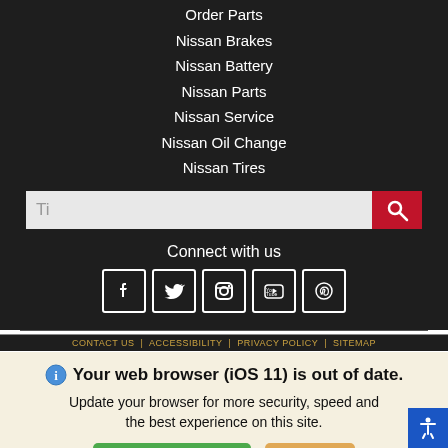Order Parts
Nissan Brakes
Nissan Battery
Nissan Parts
Nissan Service
Nissan Oil Change
Nissan Tires
[Figure (screenshot): Search bar with text input showing 'Ti' and a red search button with magnifying glass icon]
Connect with us
[Figure (infographic): Social media icons: Facebook, Twitter, Instagram, YouTube, Pinterest — white icons in square bordered boxes]
Your web browser (iOS 11) is out of date. Update your browser for more security, speed and the best experience on this site.
[Figure (screenshot): Update browser button (green) and Ignore button (orange/tan)]